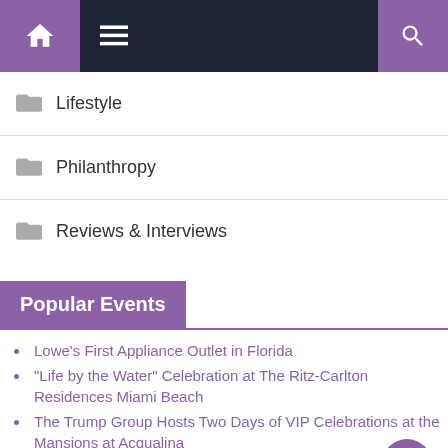Navigation bar with home, menu, and search icons
Lifestyle
Philanthropy
Reviews & Interviews
Popular Events
Lowe's First Appliance Outlet in Florida
“Life by the Water” Celebration at The Ritz-Carlton Residences Miami Beach
The Trump Group Hosts Two Days of VIP Celebrations at the Mansions at Acqualina
The Jon Jay FMSbonds Celebrity Bowling Challenge
The Gramercy Launches Express Lunch and Happy Hour